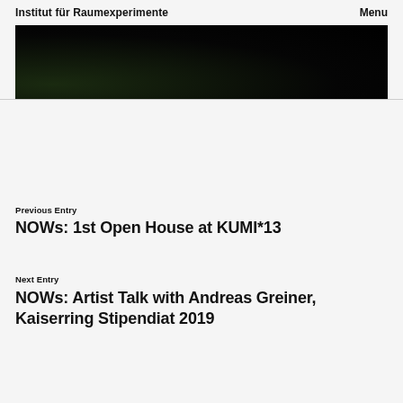Institut für Raumexperimente   Menu
[Figure (photo): Dark photograph strip, mostly black with faint foliage visible at lower left corner]
Previous Entry
NOWs: 1st Open House at KUMI*13
Next Entry
NOWs: Artist Talk with Andreas Greiner, Kaiserring Stipendiat 2019